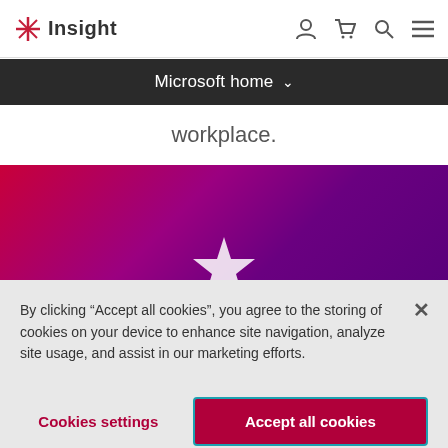Insight — navigation bar with logo, user, cart, search, and menu icons
Microsoft home
workplace.
[Figure (illustration): Gradient banner with pink-to-purple gradient and a white star icon]
By clicking “Accept all cookies”, you agree to the storing of cookies on your device to enhance site navigation, analyze site usage, and assist in our marketing efforts.
Cookies settings
Accept all cookies